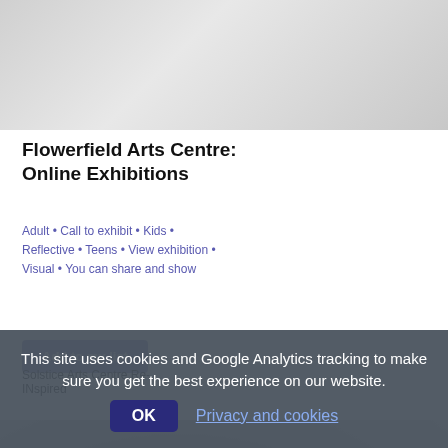[Figure (photo): Blurred grey background image at top of page]
Flowerfield Arts Centre: Online Exhibitions
Adult • Call to exhibit • Kids • Reflective • Teens • View exhibition • Visual • You can share and show
Add to my list
[Figure (photo): Blurred dark background image in middle/lower portion of page, showing a person's silhouette]
Solstice Arts Centre Re-
INspired
This site uses cookies and Google Analytics tracking to make sure you get the best experience on our website.
OK  Privacy and cookies